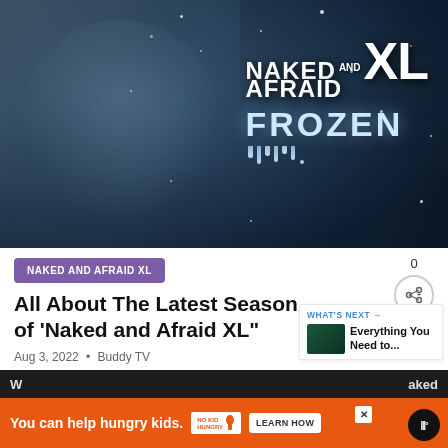[Figure (photo): Promotional image for 'Naked and Afraid XL: Frozen' TV show. A man with frost-covered beard and shaved head on left side, dark winter/snowy background. Show title text 'NAKED AND AFRAID XL' and 'FROZEN' with icy lettering on the right side.]
NAKED AND AFRAID XL
All About The Latest Season of 'Naked and Afraid XL"
WHAT'S NEXT → Everything You Need to...
Aug 3, 2022 • Buddy TV
You can help hungry kids.
LEARN HOW